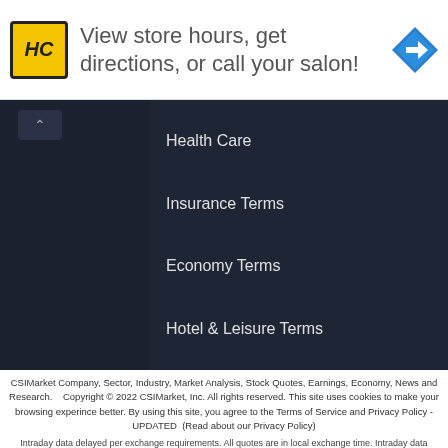[Figure (other): Advertisement banner: HC salon logo with text 'View store hours, get directions, or call your salon!' and a blue navigation arrow icon]
Health Care
Insurance Terms
Economy Terms
Hotel & Leisure Terms
CSIMarket Company, Sector, Industry, Market Analysis, Stock Quotes, Earnings, Economy, News and Research.    Copyright © 2022 CSIMarket, Inc. All rights reserved. This site uses cookies to make your browsing experince better. By using this site, you agree to the Terms of Service and Privacy Policy - UPDATED  (Read about our Privacy Policy)
Intraday data delayed per exchange requirements. All quotes are in local exchange time. Intraday data delayed 15 minutes for Nasdaq, and other exchanges. Fundamental and financial data for Stocks, Sector, Industry, and Economic Indicators provided by CSIMarket.com
CSIMarket.com 1500 N. University Drive, Coral Springs, FL 33071